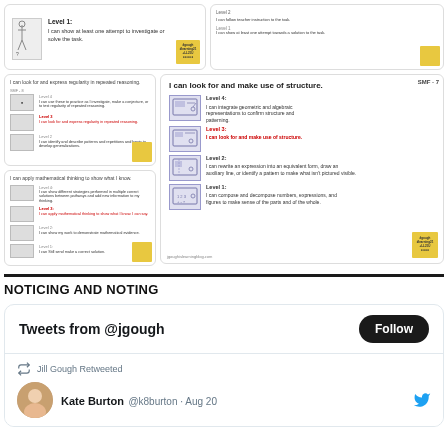[Figure (screenshot): Top row: two educational rubric cards showing Standards for Mathematical Practice levels. Left card shows Level 1: I can show at least one attempt to investigate or solve the task. Right card is smaller showing similar level structure.]
[Figure (screenshot): Bottom row: left column has two smaller rubric cards (look for regularities in repeated reasoning; apply mathematical thinking). Right large card shows SMF-7: I can look for and make use of structure. Level 4: I can integrate geometric and algebraic representations to confirm structure and patterning. Level 3 (red): I can look for and make use of structure. Level 2: I can rewrite an expression into an equivalent form, draw an auxiliary line, or identify a pattern to make what isn't pictured visible. Level 1: I can compose and decompose numbers, expressions, and figures to make sense of the parts and of the whole.]
NOTICING AND NOTING
[Figure (screenshot): Twitter widget showing Tweets from @jgough with a Follow button, and a tweet: Jill Gough Retweeted Kate Burton @k8burton · Aug 20]